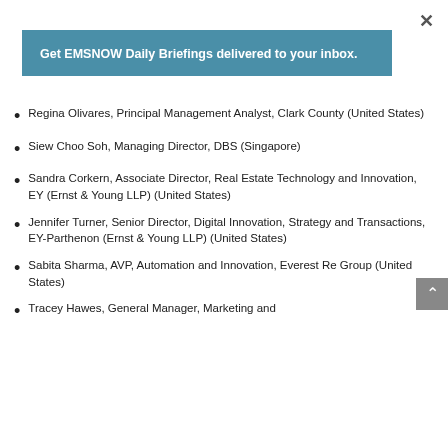×
Get EMSNOW Daily Briefings delivered to your inbox.
Regina Olivares, Principal Management Analyst, Clark County (United States)
Siew Choo Soh, Managing Director, DBS (Singapore)
Sandra Corkern, Associate Director, Real Estate Technology and Innovation, EY (Ernst & Young LLP) (United States)
Jennifer Turner, Senior Director, Digital Innovation, Strategy and Transactions, EY-Parthenon (Ernst & Young LLP) (United States)
Sabita Sharma, AVP, Automation and Innovation, Everest Re Group (United States)
Tracey Hawes, General Manager, Marketing and [continues]